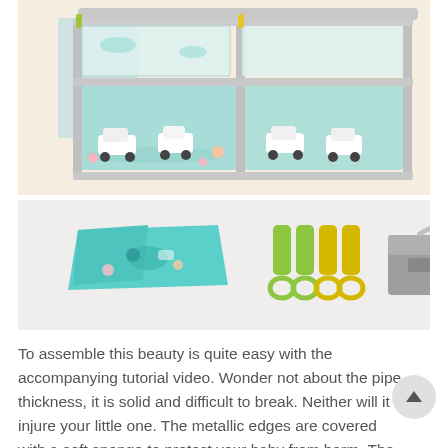[Figure (photo): Baby playpen with gray metal frame and teal/turquoise fabric panels featuring cartoon cars and animals illustrations. Viewed from above at an angle showing multiple panels and the mat inside.]
[Figure (photo): Product accessories laid out: teal fabric mat with cartoon print folded, green and yellow plastic push-pin connectors (4 pieces), and gray storage box with handle.]
To assemble this beauty is quite easy with the accompanying tutorial video. Wonder not about the pipe thickness, it is solid and difficult to break. Neither will it injure your little one. The metallic edges are covered with a soft sponge to protect your baby from harm. The floor mat is anti-slip and